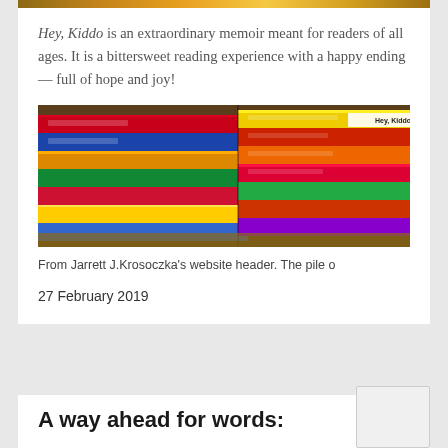Hey, Kiddo is an extraordinary memoir meant for readers of all ages. It is a bittersweet reading experience with a happy ending — full of hope and joy!
[Figure (photo): A pile of colorful children's books stacked horizontally, with 'Hey, Kiddo' visible on one spine. The books have brightly colored spines in red, yellow, green, blue, and orange.]
From Jarrett J.Krosoczka's website header. The pile o
27 February 2019
A way ahead for words: